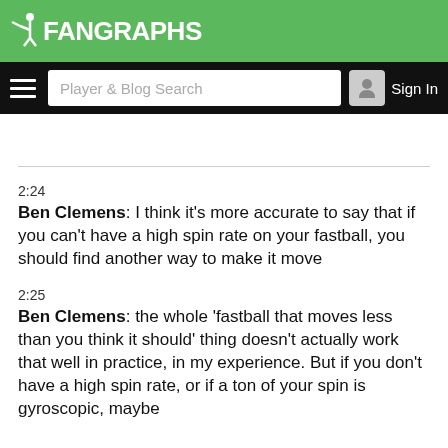FanGraphs
Player & Blog Search
Sign In
2:24
Ben Clemens: I think it's more accurate to say that if you can't have a high spin rate on your fastball, you should find another way to make it move
2:25
Ben Clemens: the whole 'fastball that moves less than you think it should' thing doesn't actually work that well in practice, in my experience. But if you don't have a high spin rate, or if a ton of your spin is gyroscopic, maybe